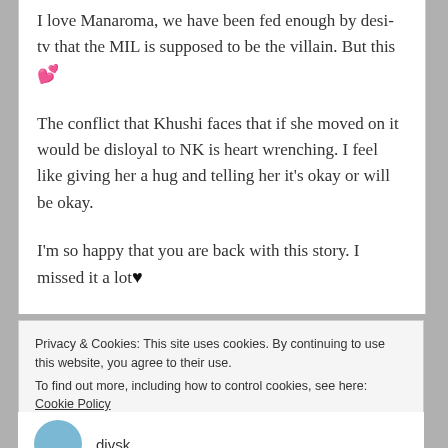I love Manaroma, we have been fed enough by desi-tv that the MIL is supposed to be the villain. But this 💕
The conflict that Khushi faces that if she moved on it would be disloyal to NK is heart wrenching. I feel like giving her a hug and telling her it's okay or will be okay.
I'm so happy that you are back with this story. I missed it a lot♥
Privacy & Cookies: This site uses cookies. By continuing to use this website, you agree to their use.
To find out more, including how to control cookies, see here: Cookie Policy
divsk